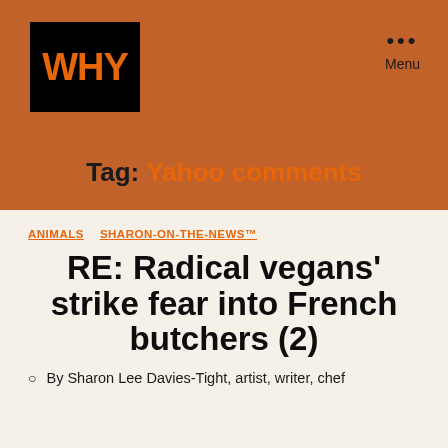WHY
Tag: Yahoo comments
ANIMALS   SHARON-ON-THE-NEWS™
RE: Radical vegans' strike fear into French butchers (2)
By Sharon Lee Davies-Tight, artist, writer, chef